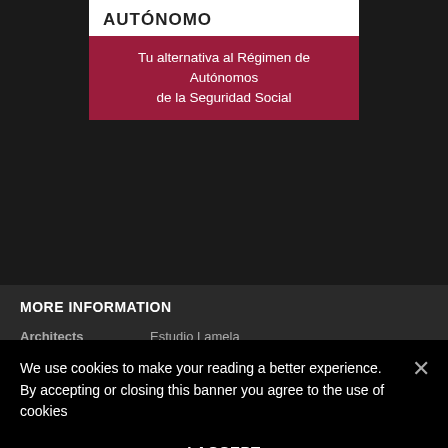[Figure (screenshot): White card with 'AUTÓNOMO' title and dark red banner reading 'Tu alternativa al Régimen de Autónomos de la Seguridad Social']
MORE INFORMATION
Architects    Estudio Lamela
We use cookies to make your reading a better experience. By accepting or closing this banner you agree to the use of cookies
I ACCEPT
Read cookies policy